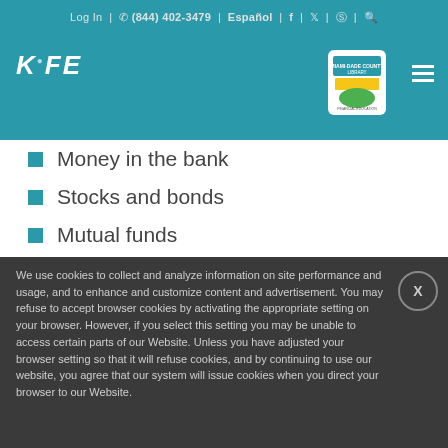Log In | (844) 402-3479 | Español | KOFE
Money in the bank
Stocks and bonds
Mutual funds
We use cookies to collect and analyze information on site performance and usage, and to enhance and customize content and advertisement. You may refuse to accept browser cookies by activating the appropriate setting on your browser. However, if you select this setting you may be unable to access certain parts of our Website. Unless you have adjusted your browser setting so that it will refuse cookies, and by continuing to use our website, you agree that our system will issue cookies when you direct your browser to our Website.